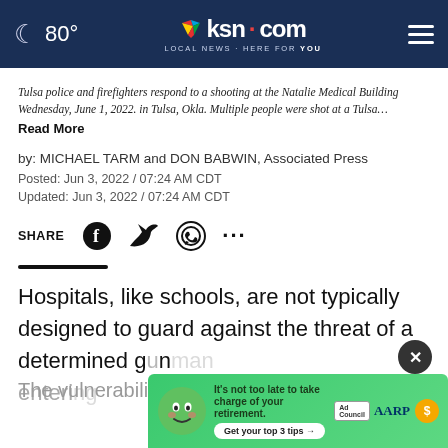80° ksn.com LOCAL NEWS · HERE FOR YOU
Tulsa police and firefighters respond to a shooting at the Natalie Medical Building Wednesday, June 1, 2022. in Tulsa, Okla. Multiple people were shot at a Tulsa… Read More
by: MICHAEL TARM and DON BABWIN, Associated Press
Posted: Jun 3, 2022 / 07:24 AM CDT
Updated: Jun 3, 2022 / 07:24 AM CDT
SHARE
Hospitals, like schools, are not typically designed to guard against the threat of a determined gunman entering…
The vulnerability of health care facilities was
[Figure (screenshot): AARP advertisement: It's not too late to take charge of your retirement. Get your top 3 tips. Ad Council + AARP logos on green background with cartoon face.]